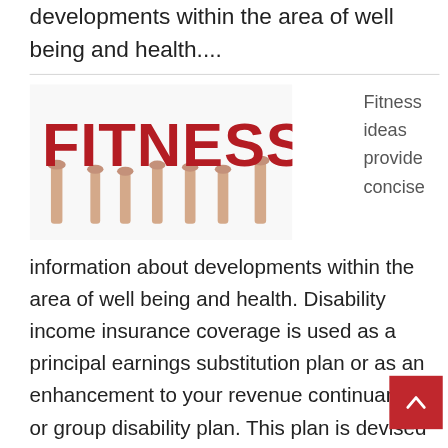developments within the area of well being and health....
[Figure (photo): Multiple hands holding up large red FITNESS letters against a white background, with the word FITNESS spelled out in bold red 3D letters]
Fitness ideas provide concise
information about developments within the area of well being and health. Disability income insurance coverage is used as a principal earnings substitution plan or as an enhancement to your revenue continuance or group disability plan. This plan is devised to keep you economically secure during laborious instances by paying monthly wages on to you when you are unable to work. Mortgage incapacity revenue insurance coverage